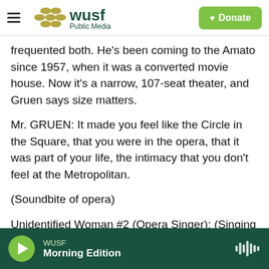WUSF Public Media — Donate
frequented both. He's been coming to the Amato since 1957, when it was a converted movie house. Now it's a narrow, 107-seat theater, and Gruen says size matters.
Mr. GRUEN: It made you feel like the Circle in the Square, that you were in the opera, that it was part of your life, the intimacy that you don't feel at the Metropolitan.
(Soundbite of opera)
Unidentified Woman #2 (Opera Singer): (Singing in foreign language)
WUSF Morning Edition